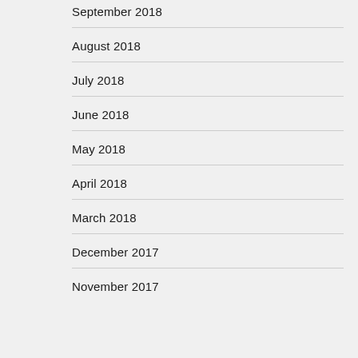September 2018
August 2018
July 2018
June 2018
May 2018
April 2018
March 2018
December 2017
November 2017